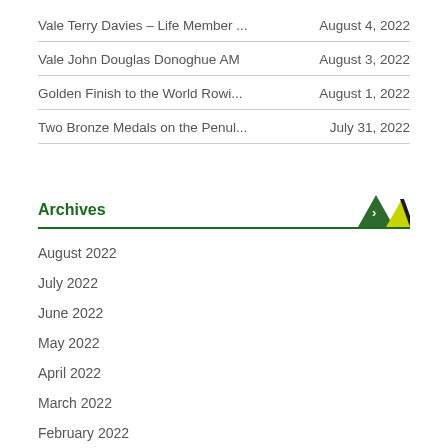Vale Terry Davies – Life Member ...    August 4, 2022
Vale John Douglas Donoghue AM    August 3, 2022
Golden Finish to the World Rowi...    August 1, 2022
Two Bronze Medals on the Penul...    July 31, 2022
Archives
August 2022
July 2022
June 2022
May 2022
April 2022
March 2022
February 2022